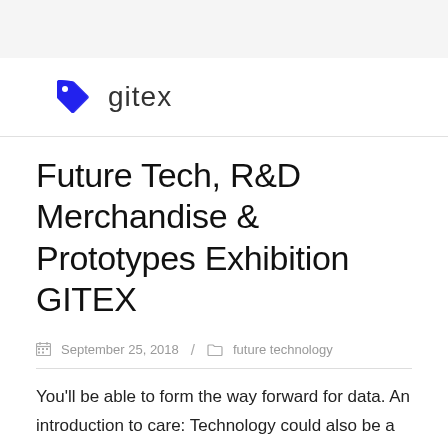gitex
Future Tech, R&D Merchandise & Prototypes Exhibition GITEX
September 25, 2018 / future technology
You'll be able to form the way forward for data. An introduction to care: Technology could also be a very good first step for those who have prevented psychological health care prior to now. Finally, all the pieces in commerce will both be uncooked materials